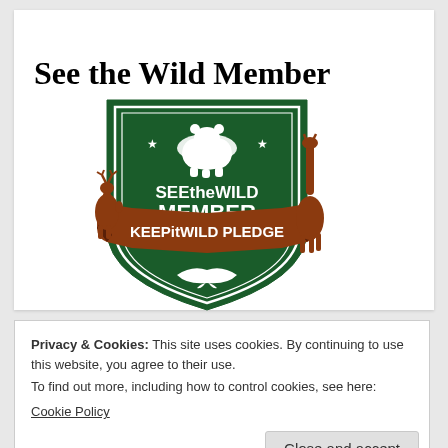See the Wild Member
[Figure (logo): SEEtheWILD MEMBER KEEPitWILD PLEDGE badge/shield logo in dark green and brown with animal silhouettes (bear, deer, giraffe, dolphin) and stars]
Privacy & Cookies: This site uses cookies. By continuing to use this website, you agree to their use.
To find out more, including how to control cookies, see here:
Cookie Policy
Close and accept